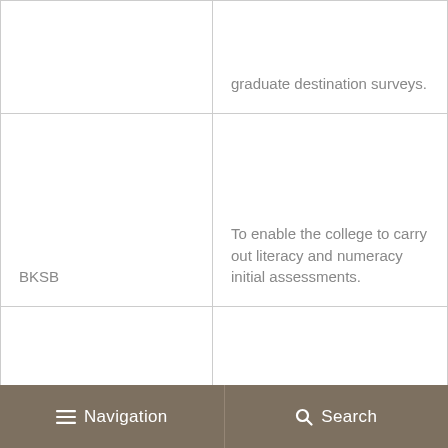| System/tool | Purpose |
| --- | --- |
|  | graduate destination surveys. |
| BKSB | To enable the college to carry out literacy and numeracy initial assessments. |
| Think alumni | The college conducts destination surveys on former students. |
Navigation   Search